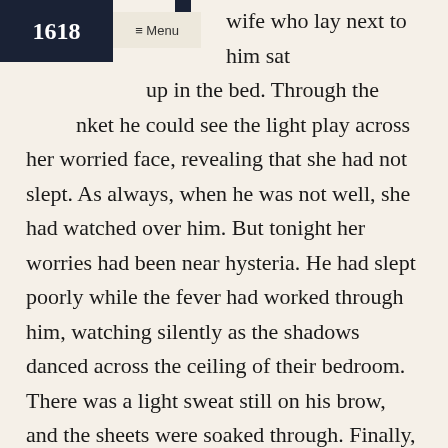1618  ≡ Menu
wife who lay next to him sat up in the bed. Through the blanket he could see the light play across her worried face, revealing that she had not slept. As always, when he was not well, she had watched over him. But tonight her worries had been near hysteria. He had slept poorly while the fever had worked through him, watching silently as the shadows danced across the ceiling of their bedroom. There was a light sweat still on his brow, and the sheets were soaked through. Finally, the fever had given way. He had fallen into dreams he could not remember. As always, even an hour of